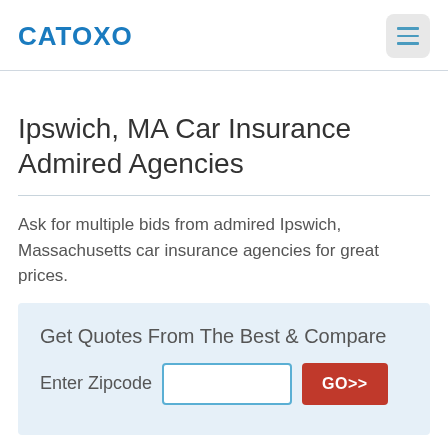CATOXO
Ipswich, MA Car Insurance Admired Agencies
Ask for multiple bids from admired Ipswich, Massachusetts car insurance agencies for great prices.
Get Quotes From The Best & Compare
Enter Zipcode  [input]  GO>>